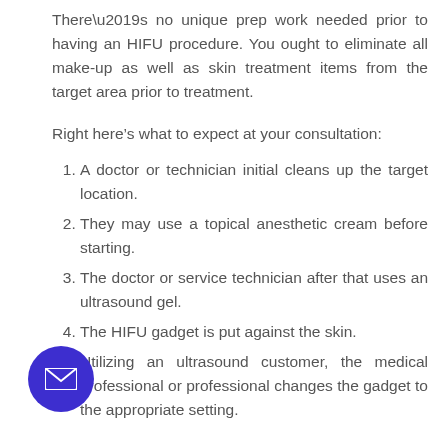There’s no unique prep work needed prior to having an HIFU procedure. You ought to eliminate all make-up as well as skin treatment items from the target area prior to treatment.
Right here’s what to expect at your consultation:
A doctor or technician initial cleans up the target location.
They may use a topical anesthetic cream before starting.
The doctor or service technician after that uses an ultrasound gel.
The HIFU gadget is put against the skin.
Utilizing an ultrasound customer, the medical professional or professional changes the gadget to the appropriate setting.